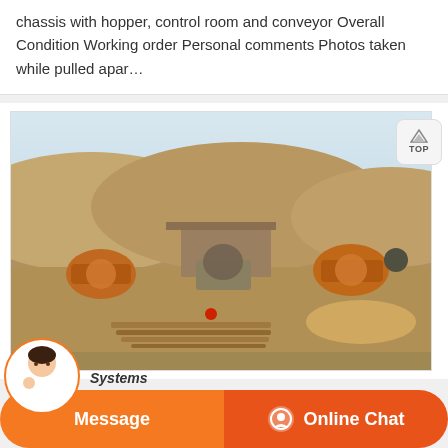chassis with hopper, control room and conveyor Overall Condition Working order Personal comments Photos taken while pulled apar…
[Figure (photo): Outdoor mining or quarry site with large piles of gravel/rock and heavy machinery (crushers or similar equipment) in the foreground, with rocky hills in the background under a pale sky. Lumber and debris scattered on the ground.]
Systems